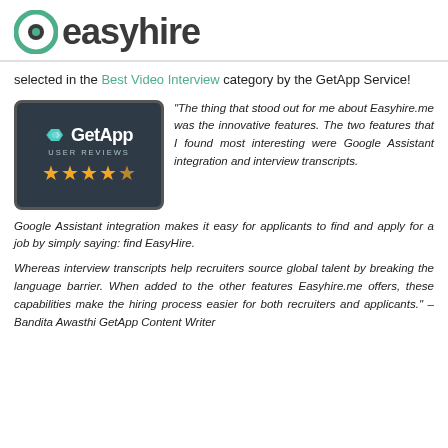easyhire
selected in the Best Video Interview category by the GetApp Service!
[Figure (logo): GetApp User Reviews badge with 4.5 star rating on dark background]
"The thing that stood out for me about Easyhire.me was the innovative features. The two features that I found most interesting were Google Assistant integration and interview transcripts. Google Assistant integration makes it easy for applicants to find and apply for a job by simply saying: find EasyHire.
Whereas interview transcripts help recruiters source global talent by breaking the language barrier. When added to the other features Easyhire.me offers, these capabilities make the hiring process easier for both recruiters and applicants." – Bandita Awasthi GetApp Content Writer